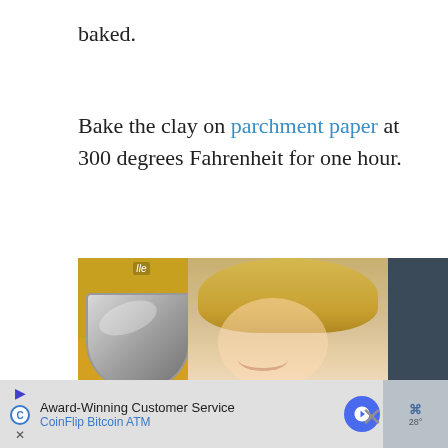baked.
Bake the clay on parchment paper at 300 degrees Fahrenheit for one hour.
[Figure (photo): A smiling young blonde girl sitting at a yellow table with colorful clay pieces and a metal mixing bowl.]
WHAT'S NEXT → DIY Light-up Christmas...
Award-Winning Customer Service CoinFlip Bitcoin ATM